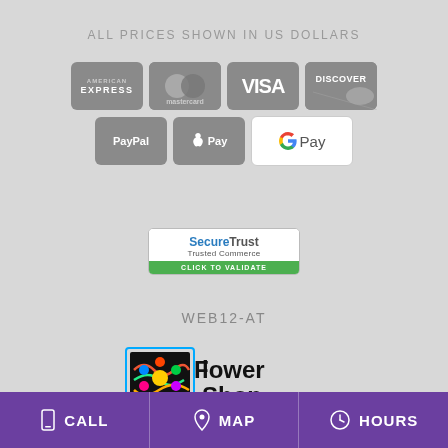ALL PRICES SHOWN IN US DOLLARS
[Figure (logo): Payment method icons: American Express, Mastercard, Visa, Discover, PayPal, Apple Pay, Google Pay]
[Figure (logo): SecureTrust Trusted Commerce badge with CLICK TO VALIDATE]
WEB12-AT
[Figure (logo): Flower Shop Network logo]
CALL  MAP  HOURS